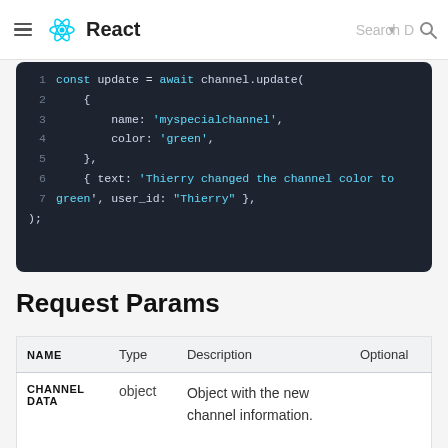React
[Figure (screenshot): Dark-themed code block showing JavaScript code lines 1-7 plus closing brace. Line 1: const update = await channel.update(  Line 2: {  Line 3: name: 'myspecialchannel',  Line 4: color: 'green',  Line 5: },  Line 6: { text: 'Thierry changed the channel color to  Line 7: green', user_id: "Thierry" },  Line 8: );]
Request Params
| NAME | Type | Description | Optional |
| --- | --- | --- | --- |
| CHANNEL DATA | object | Object with the new channel information.

One special field is

"frozen". Setting this |  |